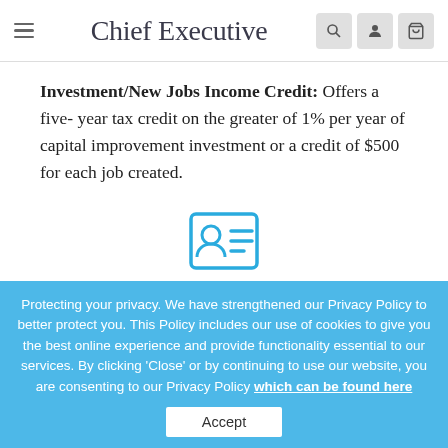Chief Executive
Investment/New Jobs Income Credit: Offers a five- year tax credit on the greater of 1% per year of capital improvement investment or a credit of $500 for each job created.
[Figure (illustration): Contact card icon in blue outline style showing a person silhouette and horizontal lines representing text]
Protecting your privacy. We have strengthened our Privacy Policy to better protect you. This Policy includes our use of cookies to give you the best online experience and provide functionality essential to our services. By clicking 'Close' or by continuing to use our website, you are consenting to our Privacy Policy which can be found here
Accept